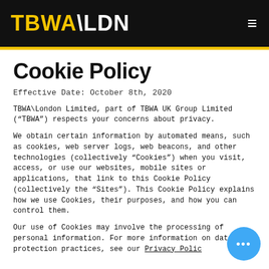TBWA\LDN
Cookie Policy
Effective Date: October 8th, 2020
TBWA\London Limited, part of TBWA UK Group Limited (“TBWA”) respects your concerns about privacy.
We obtain certain information by automated means, such as cookies, web server logs, web beacons, and other technologies (collectively “Cookies”) when you visit, access, or use our websites, mobile sites or applications, that link to this Cookie Policy (collectively the “Sites”). This Cookie Policy explains how we use Cookies, their purposes, and how you can control them.
Our use of Cookies may involve the processing of personal information. For more information on data protection practices, see our Privacy Polic…